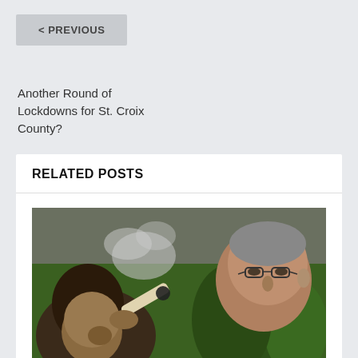< PREVIOUS
Another Round of Lockdowns for St. Croix County?
RELATED POSTS
[Figure (photo): Two people near cannabis plants; one person smoking a large joint while an older man with glasses looks on]
Half Baked: Administration Committee Fast